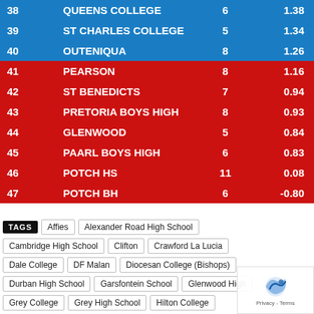| # | School | Played | Score |
| --- | --- | --- | --- |
| 38 | QUEENS COLLEGE | 6 | 1.38 |
| 39 | ST CHARLES COLLEGE | 5 | 1.34 |
| 40 | OUTENIQUA | 8 | 1.26 |
| 41 | PEARSON | 8 | 1.16 |
| 42 | ST BENEDICTS | 7 | 0.94 |
| 43 | PRETORIA BOYS HIGH | 8 | 0.93 |
| 44 | GLENWOOD | 5 | 0.84 |
| 45 | PAARL BOYS HIGH | 6 | 0.83 |
| 46 | POTCH HS | 11 | 0.08 |
| 47 | POTCH BH | 6 | -0.80 |
TAGS  Affies  Alexander Road High School  Cambridge High School  Clifton  Crawford La Lucia  Dale College  DF Malan  Diocesan College (Bishops)  Durban High School  Garsfontein School  Glenwood High  Grey College  Grey High School  Hilton College  Hoërskool Pietersburg  Hudson Park  Jim Fouche Hoërsko  Kearsney College  King Edward VII  Kingswood College